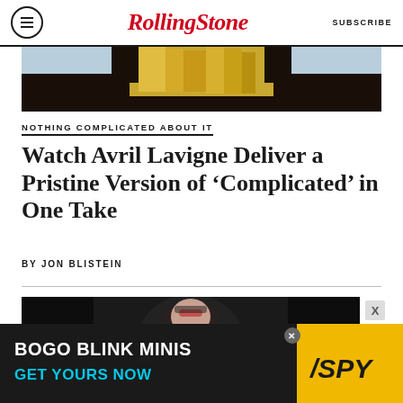Rolling Stone | SUBSCRIBE
[Figure (photo): Cropped photo showing blonde hair and dark clothing, top portion of article image]
NOTHING COMPLICATED ABOUT IT
Watch Avril Lavigne Deliver a Pristine Version of ‘Complicated’ in One Take
BY JON BLISTEIN
[Figure (photo): Concert performer with red and dark hair holding microphone, dark stage background]
[Figure (photo): Advertisement banner: BOGO BLINK MINIS GET YOURS NOW with SPY logo]